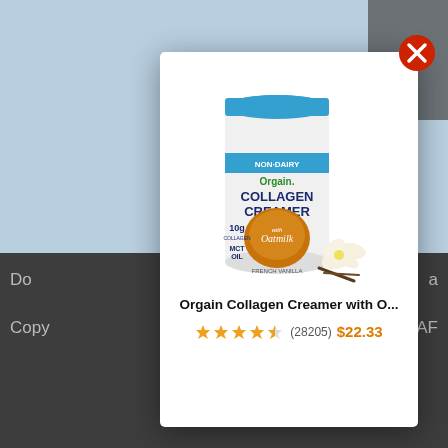[Figure (screenshot): Screenshot of a webpage showing a modal popup with an Orgain Collagen Creamer product. Background shows a blurred webpage with 'Up is D' title text and a dark footer bar. The modal contains a product image of Orgain Collagen Creamer with Oatmilk French Vanilla, along with product title, star rating, review count, and price.]
Up is D
Augus
Do
a
Copy
y AF
Orgain Collagen Creamer with O...
★★★★½ (28205) $22.33